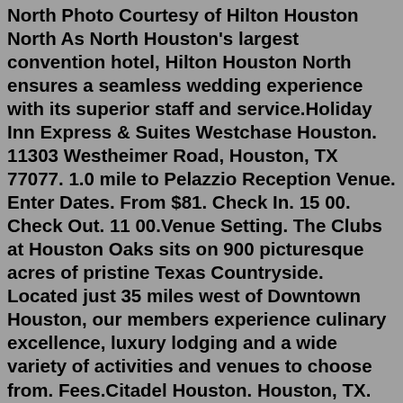North Photo Courtesy of Hilton Houston North As North Houston's largest convention hotel, Hilton Houston North ensures a seamless wedding experience with its superior staff and service.Holiday Inn Express & Suites Westchase Houston. 11303 Westheimer Road, Houston, TX 77077. 1.0 mile to Pelazzio Reception Venue. Enter Dates. From $81. Check In. 15 00. Check Out. 11 00.Venue Setting. The Clubs at Houston Oaks sits on 900 picturesque acres of pristine Texas Countryside. Located just 35 miles west of Downtown Houston, our members experience culinary excellence, luxury lodging and a wide variety of activities and venues to choose from. Fees.Citadel Houston. Houston, TX. Citadel houston is one of the best wedding venue in houston offers ample space of large celebrations, wedding ceremonies, reception parties, special occasion celebration, other wedding events. Citadel houston is a 25,000 square foot luxury event venue that offers classic and elegant opulence at every turn.Sep 05, 2018 · Of all the available Houston event venues, this one is by far the most thrilling! 2